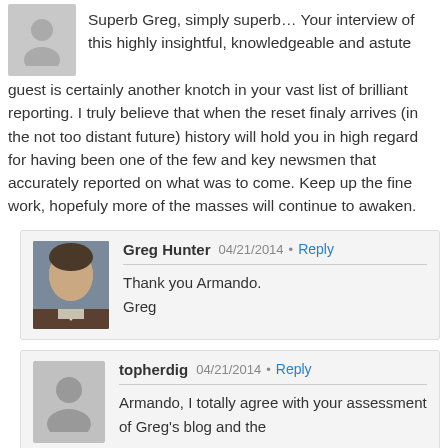Superb Greg, simply superb… Your interview of this highly insightful, knowledgeable and astute guest is certainly another knotch in your vast list of brilliant reporting. I truly believe that when the reset finaly arrives (in the not too distant future) history will hold you in high regard for having been one of the few and key newsmen that accurately reported on what was to come. Keep up the fine work, hopefuly more of the masses will continue to awaken.
Greg Hunter  04/21/2014 • Reply
Thank you Armando.
Greg
topherdig  04/21/2014 • Reply
Armando, I totally agree with your assessment of Greg's blog and the guests that speak the truth and his courage and